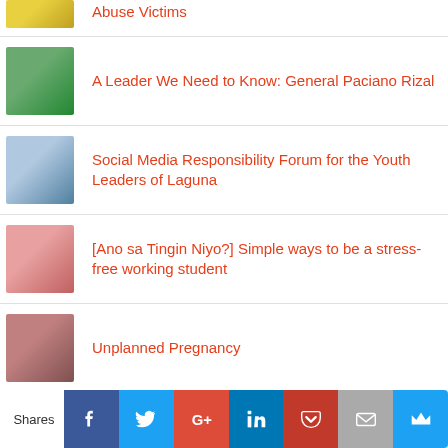Abuse Victims
A Leader We Need to Know: General Paciano Rizal
Social Media Responsibility Forum for the Youth Leaders of Laguna
[Ano sa Tingin Niyo?] Simple ways to be a stress-free working student
Unplanned Pregnancy
[Figure (infographic): Social sharing bar with Facebook, Twitter, Google+, LinkedIn, Pocket, Email, and Crown icons. Label reads 'Shares' on the left.]